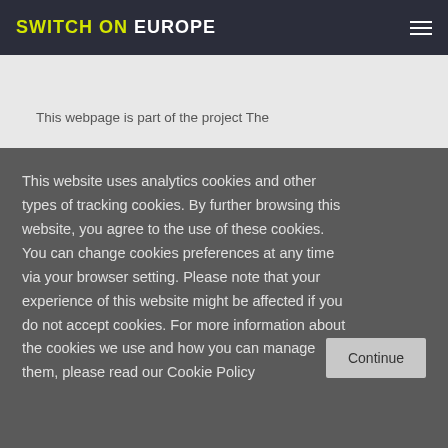SWITCH ON EUROPE
This webpage is part of the project The
This website uses analytics cookies and other types of tracking cookies. By further browsing this website, you agree to the use of these cookies. You can change cookies preferences at any time via your browser setting. Please note that your experience of this website might be affected if you do not accept cookies. For more information about the cookies we use and how you can manage them, please read our Cookie Policy